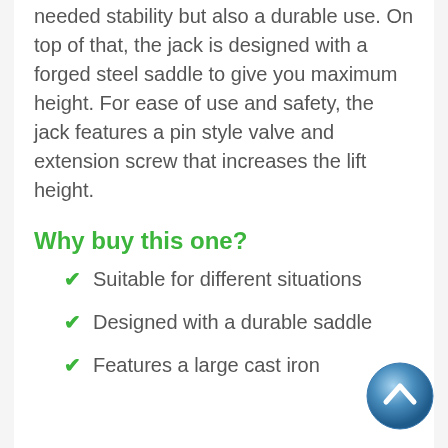needed stability but also a durable use. On top of that, the jack is designed with a forged steel saddle to give you maximum height. For ease of use and safety, the jack features a pin style valve and extension screw that increases the lift height.
Why buy this one?
Suitable for different situations
Designed with a durable saddle
Features a large cast iron